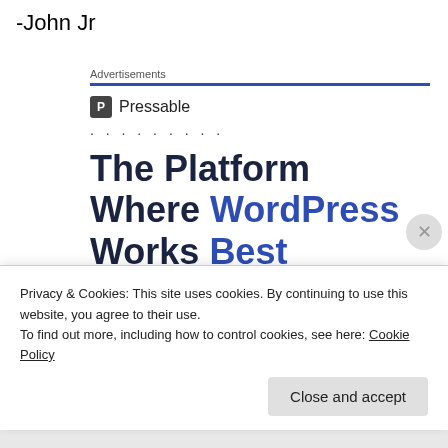-John Jr
Advertisements
[Figure (logo): Pressable logo with blue P icon and brand name, followed by dotted loading indicator, then advertisement headline 'The Platform Where WordPress Works Best' with 'WordPress' and 'Best' in blue, and a 'SEE PRICING' button]
Privacy & Cookies: This site uses cookies. By continuing to use this website, you agree to their use.
To find out more, including how to control cookies, see here: Cookie Policy
Close and accept